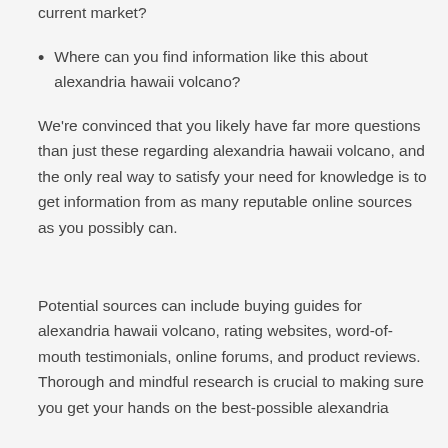current market?
Where can you find information like this about alexandria hawaii volcano?
We're convinced that you likely have far more questions than just these regarding alexandria hawaii volcano, and the only real way to satisfy your need for knowledge is to get information from as many reputable online sources as you possibly can.
Potential sources can include buying guides for alexandria hawaii volcano, rating websites, word-of-mouth testimonials, online forums, and product reviews. Thorough and mindful research is crucial to making sure you get your hands on the best-possible alexandria